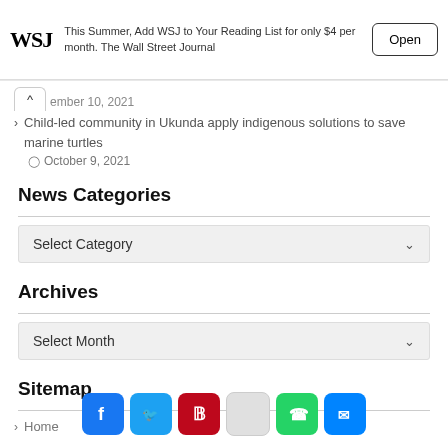This Summer, Add WSJ to Your Reading List for only $4 per month. The Wall Street Journal — Open
ember 10, 2021
Child-led community in Ukunda apply indigenous solutions to save marine turtles
October 9, 2021
News Categories
Select Category
Archives
Select Month
Sitemap
Home